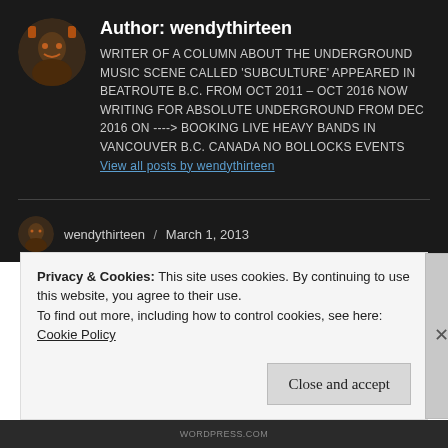Author: wendythirteen
WRITER OF A COLUMN ABOUT THE UNDERGROUND MUSIC SCENE CALLED 'SUBCULTURE' APPEARED IN BEATROUTE B.C. FROM OCT 2011 - OCT 2016 NOW WRITING FOR ABSOLUTE UNDERGROUND FROM DEC 2016 ON ----> BOOKING LIVE HEAVY BANDS IN VANCOUVER B.C. CANADA NO BOLLOCKS EVENTS View all posts by wendythirteen
wendythirteen / March 1, 2013
Privacy & Cookies: This site uses cookies. By continuing to use this website, you agree to their use.
To find out more, including how to control cookies, see here: Cookie Policy
Close and accept